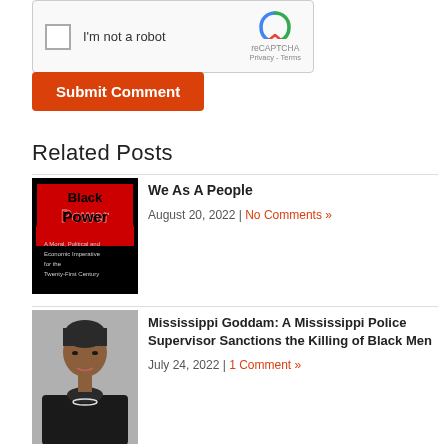[Figure (screenshot): reCAPTCHA widget with 'I'm not a robot' checkbox]
Submit Comment
Related Posts
[Figure (photo): Book cover: Black Power - A Moral, Political and Economic Imperative for the Twenty-First Century]
We As A People
August 20, 2022 | No Comments »
[Figure (photo): Portrait photo of a Black woman with short hair wearing a black blazer and pearl necklace]
Mississippi Goddam: A Mississippi Police Supervisor Sanctions the Killing of Black Men
July 24, 2022 | 1 Comment »